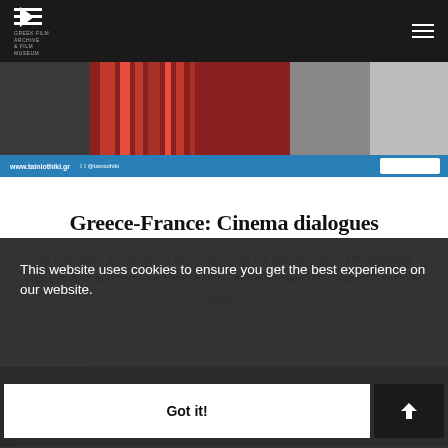Greek Film Archive & Film Museum — www.tainiothiki.gr
[Figure (photo): Banner image showing colorful scarves/fabric in red and grey tones with a blue strip at the bottom containing website URL www.tainiothiki.gr and social media icons, plus partner logos on the right]
Greece-France: Cinema dialogues
An extensive tribute of 45 titles, showing the uninterrupted and ongoing, cultural dialogue between France and Greece through their shared cinematic history.
LEARN MORE
This website uses cookies to ensure you get the best experience on our website.
Got it!